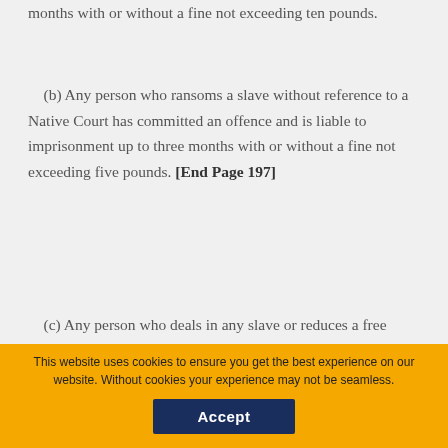months with or without a fine not exceeding ten pounds.
(b) Any person who ransoms a slave without reference to a Native Court has committed an offence and is liable to imprisonment up to three months with or without a fine not exceeding five pounds. [End Page 197]
(c) Any person who deals in any slave or reduces a free person to slavery is liable to imprisonment up to one year with or without a fine not exceeding pounds.
collapse
You are not currently authenticated. If you would like to authenticate using a different subscribed institution or
This website uses cookies to ensure you get the best experience on our website. Without cookies your experience may not be seamless.
Accept